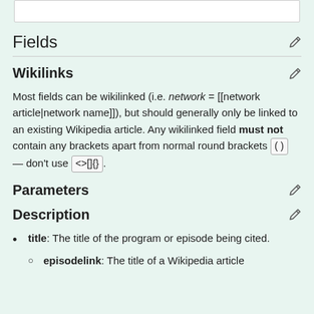Fields
Wikilinks
Most fields can be wikilinked (i.e. network = [[network article|network name]]), but should generally only be linked to an existing Wikipedia article. Any wikilinked field must not contain any brackets apart from normal round brackets ( ) — don't use <>[]{}​.
Parameters
Description
title: The title of the program or episode being cited.
episodelink: The title of a Wikipedia article